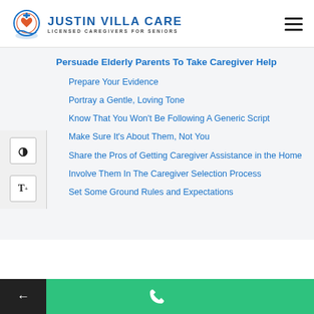[Figure (logo): Justin Villa Care logo with icon and text: Licensed Caregivers for Seniors]
Persuade Elderly Parents To Take Caregiver Help
Prepare Your Evidence
Portray a Gentle, Loving Tone
Know That You Won't Be Following A Generic Script
Make Sure It's About Them, Not You
Share the Pros of Getting Caregiver Assistance in the Home
Involve Them In The Caregiver Selection Process
Set Some Ground Rules and Expectations
Phone contact bar